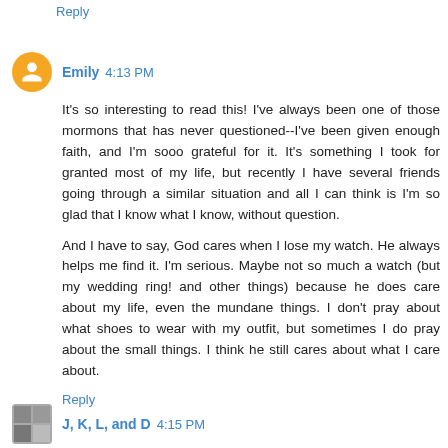Reply
Emily 4:13 PM
It's so interesting to read this! I've always been one of those mormons that has never questioned--I've been given enough faith, and I'm sooo grateful for it. It's something I took for granted most of my life, but recently I have several friends going through a similar situation and all I can think is I'm so glad that I know what I know, without question.

And I have to say, God cares when I lose my watch. He always helps me find it. I'm serious. Maybe not so much a watch (but my wedding ring! and other things) because he does care about my life, even the mundane things. I don't pray about what shoes to wear with my outfit, but sometimes I do pray about the small things. I think he still cares about what I care about.
Reply
J, K, L, and D 4:15 PM